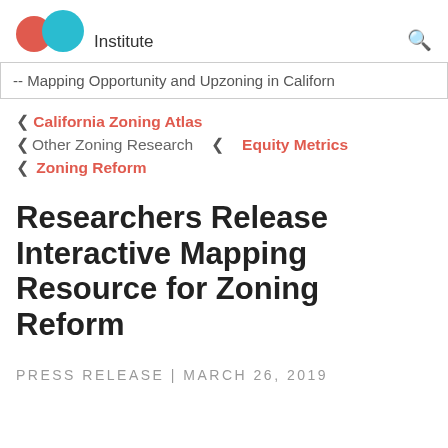Institute
-- Mapping Opportunity and Upzoning in California
< California Zoning Atlas
< Other Zoning Research   < Equity Metrics
< Zoning Reform
Researchers Release Interactive Mapping Resource for Zoning Reform
PRESS RELEASE | MARCH 26, 2019